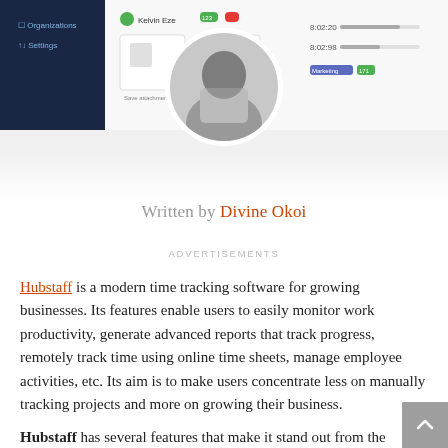[Figure (screenshot): Screenshot of a web application UI (Hubstaff interface) with a sidebar showing Organizations and Settings, a profile card for Kelvin Eze, task/chart panels, and a circular avatar photo of the author (black and white headshot) overlaid at center.]
Written by Divine Okoi
ADVERTISEMENTS
Hubstaff is a modern time tracking software for growing businesses. Its features enable users to easily monitor work productivity, generate advanced reports that track progress, remotely track time using online time sheets, manage employee activities, etc. Its aim is to make users concentrate less on manually tracking projects and more on growing their business.
Hubstaff has several features that make it stand out from the time tracking software market